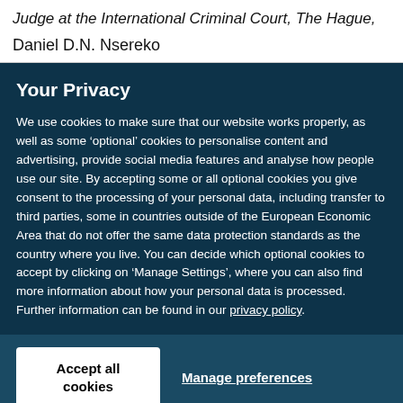Judge at the International Criminal Court, The Hague,
Daniel D.N. Nsereko
Your Privacy
We use cookies to make sure that our website works properly, as well as some ‘optional’ cookies to personalise content and advertising, provide social media features and analyse how people use our site. By accepting some or all optional cookies you give consent to the processing of your personal data, including transfer to third parties, some in countries outside of the European Economic Area that do not offer the same data protection standards as the country where you live. You can decide which optional cookies to accept by clicking on ‘Manage Settings’, where you can also find more information about how your personal data is processed. Further information can be found in our privacy policy.
Accept all cookies
Manage preferences